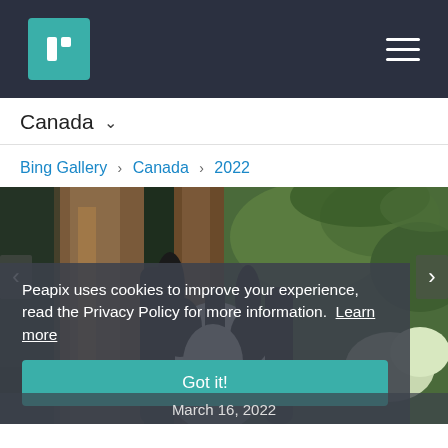Peapix logo and navigation header
Canada ▾
Bing Gallery › Canada › 2022
[Figure (photo): A giant panda climbing a tree trunk in a lush green forest setting, viewed from behind. The panda is black and white, clinging to a large brown trunk. Green foliage and white flowers visible in background.]
Peapix uses cookies to improve your experience, read the Privacy Policy for more information. Learn more
Got it!
March 16, 2022